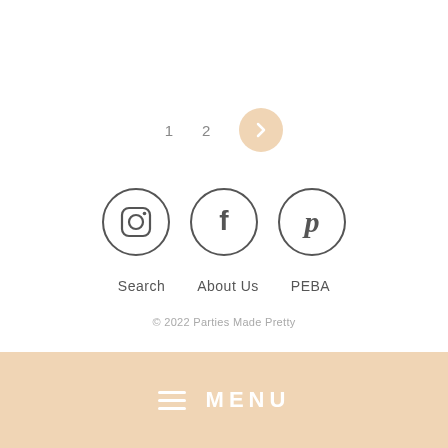[Figure (other): Pagination with page numbers 1 and 2, and a right arrow button in peach/tan circle]
[Figure (other): Three social media icon circles: Instagram, Facebook, Pinterest]
Search  About Us  PEBA
© 2022 Parties Made Pretty
[Figure (other): Menu bar with hamburger icon and MENU text on peach/tan background]